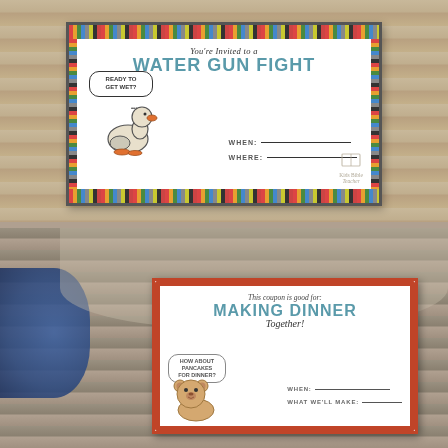[Figure (photo): Photo of a water gun fight party invitation card featuring a cartoon duck with a speech bubble saying 'Ready to Get Wet?', colorful striped border, title 'You're Invited to a WATER GUN FIGHT', with When and Where fill-in lines. Kids Bible Teacher logo visible. Card is propped on a wooden surface with a white bowl in background.]
[Figure (photo): Photo of a coupon card reading 'This coupon is good for: MAKING DINNER Together!' with a cartoon bear holding a speech bubble saying 'How About Pancakes for Dinner?'. Card has red dotted border, includes When and What We'll Make fill-in lines. Card is propped on a wooden rack with a blue mug in foreground.]